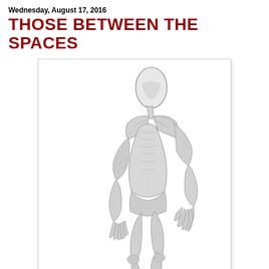Wednesday, August 17, 2016
THOSE BETWEEN THE SPACES
[Figure (illustration): A pencil sketch illustration of a tall, thin, alien-like humanoid creature with an elongated oval head without facial features, lean muscular body, bent posture leaning slightly forward, long fingers on both hands reaching downward, and bare feet. The figure is rendered in detailed graphite/pencil style on a white background.]